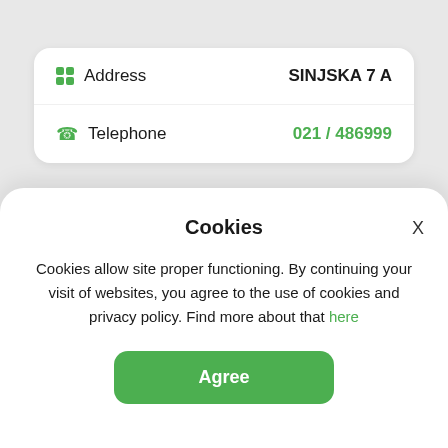| Field | Value |
| --- | --- |
| Address | SINJSKA 7 A |
| Telephone | 021 / 486999 |
[Figure (screenshot): Partially visible white card with a placeholder user/image icon]
Cookies
Cookies allow site proper functioning. By continuing your visit of websites, you agree to the use of cookies and privacy policy. Find more about that here
Agree